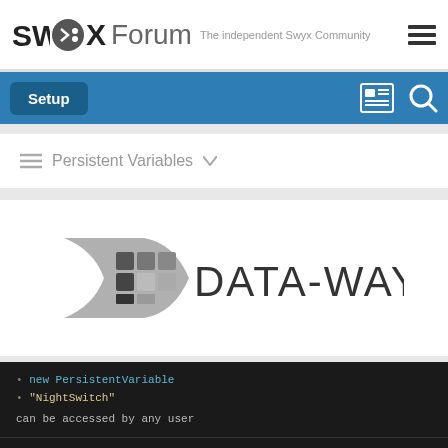SWYX Forum — The independent Swyx Community
Setup
Persistent Variables
[Figure (logo): DATA-WAY company logo with stylized grey arrow/document shape and grid squares on the left, and DATA-WAY text on the right in dark grey sans-serif font]
new PersistentVariable
"NightSwitch"
can be accessed by any user
Bottom navigation bar with icons: chat, download, code, articles, book, info